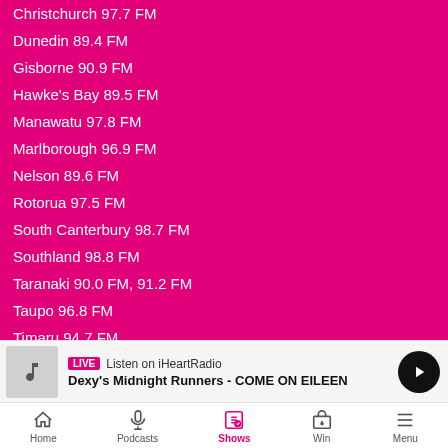Christchurch 97.7 FM
Dunedin 89.4 FM
Gisborne 90.9 FM
Hawke's Bay 89.5 FM
Manawatu 97.8 FM
Marlborough 96.9 FM
Nelson 89.6 FM
Rotorua 97.5 FM
South Canterbury 98.7 FM
Southland 98.8 FM
Taranaki 90.0 FM, 91.2 FM
Taupo 96.8 FM
Timaru 94.7 FM
LIVE Listen on iHeartRadio
Dexy's Midnight Runners - COME ON EILEEN
Home | Podcasts | Shows | Win | Menu